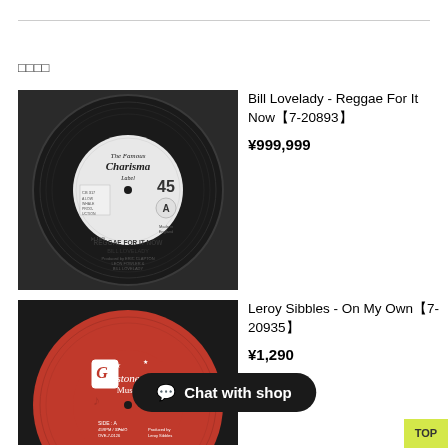□□□□
[Figure (photo): Photo of a vinyl record with The Famous Charisma Label, 45 RPM, Side A. Text on label reads: REGGAE FOR IT NOW, BILL LOVELADY]
Bill Lovelady - Reggae For It Now【7-20893】
¥999,999
[Figure (photo): Photo of a red vinyl record with G-stone Music label, Side A]
Leroy Sibbles - On My Own【7-20935】
¥1,290
Chat with shop